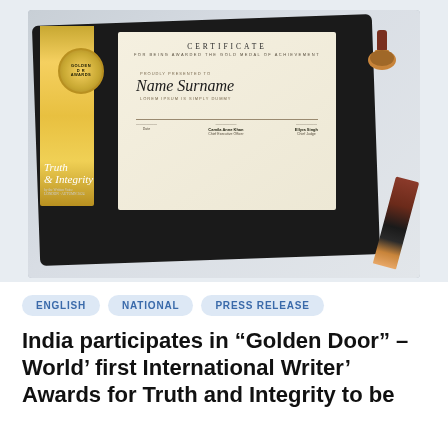[Figure (photo): A certificate of achievement inside a black folder, with a gold ribbon bookmark bearing 'Golden Door Awards' medal, text reading 'Truth & Integrity', a wax stamp, and a pen on a light gray background. The certificate reads 'CERTIFICATE FOR BEING AWARDED THE GOLD MEDAL OF ACHIEVEMENT' with 'Name Surname' as recipient.]
ENGLISH
NATIONAL
PRESS RELEASE
India participates in “Golden Door” – World’ first International Writer’ Awards for Truth and Integrity to be